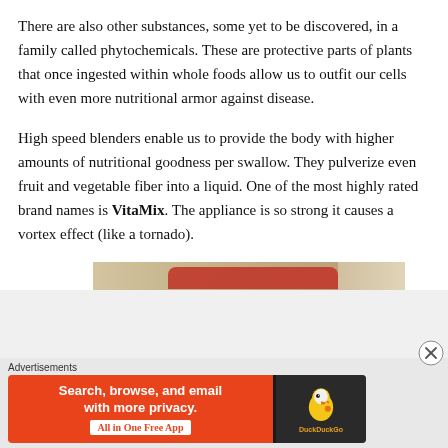There are also other substances, some yet to be discovered, in a family called phytochemicals. These are protective parts of plants that once ingested within whole foods allow us to outfit our cells with even more nutritional armor against disease.
High speed blenders enable us to provide the body with higher amounts of nutritional goodness per swallow. They pulverize even fruit and vegetable fiber into a liquid. One of the most highly rated brand names is VitaMix. The appliance is so strong it causes a vortex effect (like a tornado).
[Figure (photo): Partial photo of food items, partially visible at bottom of main content area]
Advertisements
[Figure (screenshot): DuckDuckGo advertisement banner: 'Search, browse, and email with more privacy. All in One Free App' with DuckDuckGo logo on dark background]